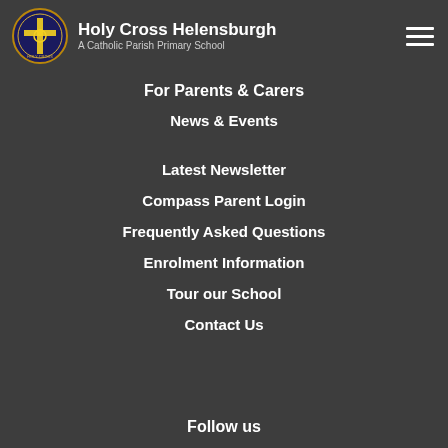Holy Cross Helensburgh - A Catholic Parish Primary School
For Parents & Carers
News & Events
Latest Newsletter
Compass Parent Login
Frequently Asked Questions
Enrolment Information
Tour our School
Contact Us
Follow us